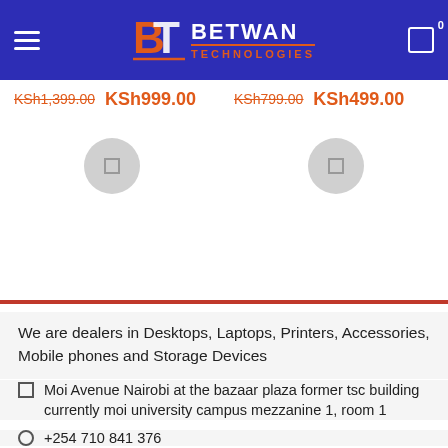Betwan Technologies - Navigation header with logo, hamburger menu, and cart icon
KSh1,399.00 KSh999.00   KSh799.00 KSh499.00
[Figure (screenshot): Two add-to-cart circular buttons in the product listing area]
We are dealers in Desktops, Laptops, Printers, Accessories, Mobile phones and Storage Devices
Moi Avenue Nairobi at the bazaar plaza former tsc building currently moi university campus mezzanine 1, room 1
+254 710 841 376